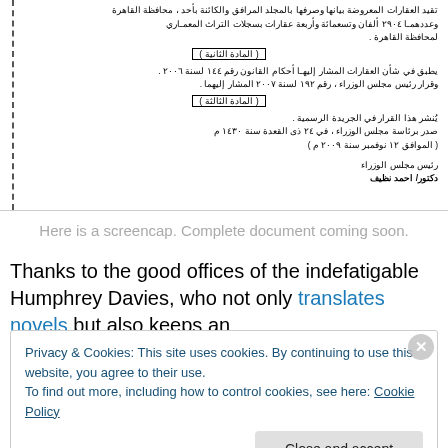Arabic government document text (RTL) — تقيد العقارات المعروضة بيانها وصرفها بالمجلد المرافق والكائنة بأحد، محافظة القاهرة وعددهما ٢٩٠٤ ألفان وتسعمائة وأربعة عقارات بسجلات التراث المعماري لمحافظة القاهرة. (المادة الثانية) يطبق في شأن العقارات المشار إليها أحكام القانون رقم ١٤٤ لسنة ٢٠٠٦ وقرار رئيس مجلس الوزراء، رقم ١٩٢ لسنة ٢٠٠٧ المشار إليهما. (المادة الثالثة) يُنشر هذا القرار في الجريدة الرسمية. صدر برئاسة مجلس الوزراء في ٢٤ ذي القعدة سنة ١٤٣٠ م (الموافق ١٢ نوفمبر سنة ٢٠٠٩ م)
رئيس مجلس الوزراء
دكتور/ احمد نظيف
Here is a screencap. Complete document coming soon.
Thanks to the good offices of the indefatigable Humphrey Davies, who not only translates novels but also keeps an
Privacy & Cookies: This site uses cookies. By continuing to use this website, you agree to their use.
To find out more, including how to control cookies, see here: Cookie Policy